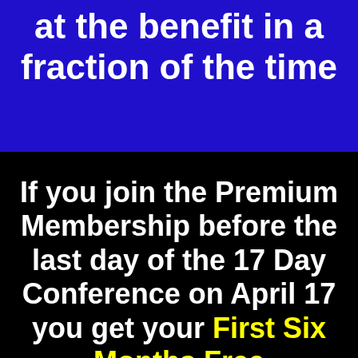at the benefit in a fraction of the time
If you join the Premium Membership before the last day of the 17 Day Conference on April 17 you get your First Six Months Free